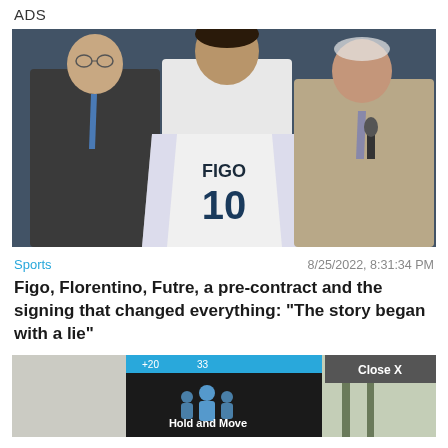ADS
[Figure (photo): Three men holding a white Real Madrid jersey with 'FIGO 10' printed on it at a press conference presentation. The man in the center is tall and wearing a white polo shirt, flanked by two older men in suits.]
Sports    8/25/2022, 8:31:34 PM
Figo, Florentino, Futre, a pre-contract and the signing that changed everything: "The story began with a lie"
[Figure (screenshot): Partial screenshot of a second article image with an advertisement overlay showing 'Hold and Move' and a 'Close X' button in the corner, plus a question mark and X icon.]